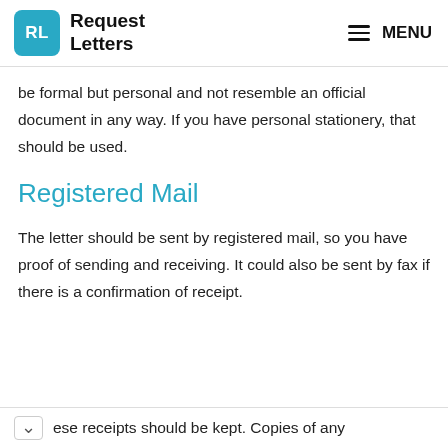RL Request Letters | MENU
be formal but personal and not resemble an official document in any way. If you have personal stationery, that should be used.
Registered Mail
The letter should be sent by registered mail, so you have proof of sending and receiving. It could also be sent by fax if there is a confirmation of receipt.
ese receipts should be kept. Copies of any